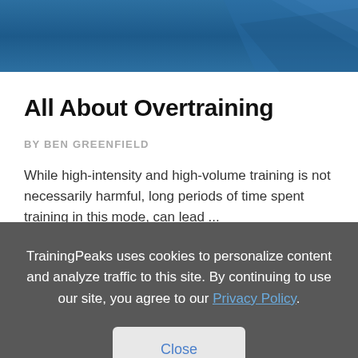[Figure (illustration): Blue gradient header banner with decorative geometric shapes on the right side]
All About Overtraining
BY BEN GREENFIELD
While high-intensity and high-volume training is not necessarily harmful, long periods of time spent training in this mode, can lead ...
TrainingPeaks uses cookies to personalize content and analyze traffic to this site. By continuing to use our site, you agree to our Privacy Policy.
Close